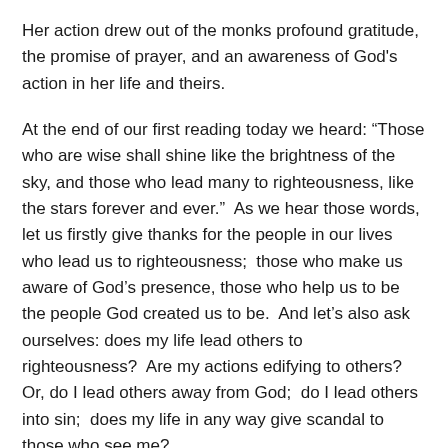Her action drew out of the monks profound gratitude, the promise of prayer, and an awareness of God's action in her life and theirs.
At the end of our first reading today we heard: “Those who are wise shall shine like the brightness of the sky, and those who lead many to righteousness, like the stars forever and ever.”  As we hear those words, let us firstly give thanks for the people in our lives who lead us to righteousness;  those who make us aware of God’s presence, those who help us to be the people God created us to be.  And let’s also ask ourselves: does my life lead others to righteousness?  Are my actions edifying to others?  Or, do I lead others away from God;  do I lead others into sin;  does my life in any way give scandal to those who see me?